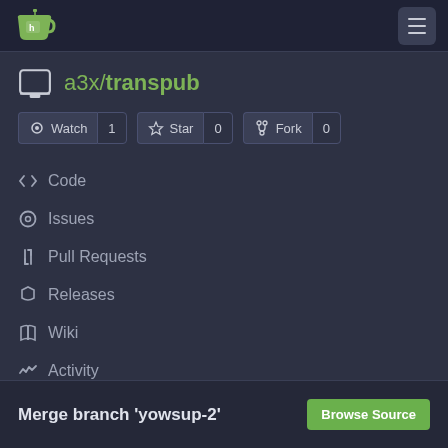[Figure (logo): Gitea logo — green mug with tea bag icon]
a3x/transpub
Watch 1   Star 0   Fork 0
Code
Issues
Pull Requests
Releases
Wiki
Activity
Merge branch 'yowsup-2'
Browse Source